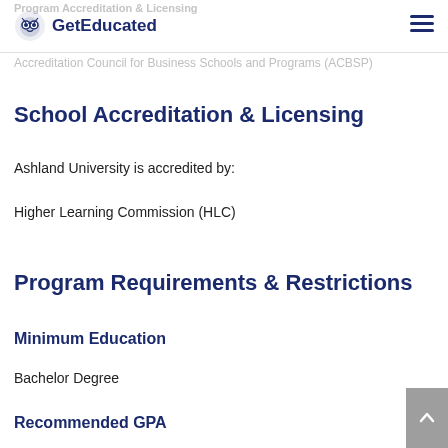Program Accreditation & Licensing — GetEducated
Accreditation Council for Business Schools and Programs (ACBSP)
School Accreditation & Licensing
Ashland University is accredited by:
Higher Learning Commission (HLC)
Program Requirements & Restrictions
Minimum Education
Bachelor Degree
Recommended GPA